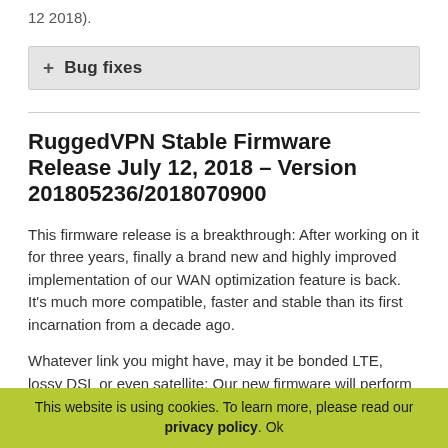12 2018).
+ Bug fixes
RuggedVPN Stable Firmware Release July 12, 2018 – Version 201805236/2018070900
This firmware release is a breakthrough: After working on it for three years, finally a brand new and highly improved implementation of our WAN optimization feature is back. It's much more compatible, faster and stable than its first incarnation from a decade ago.
Whatever link you might have, may it be bonded LTE, lossy DSL or even satellite: Our new firmware will perform better than ever. In addition to this, this firmware is
This website is using cookies. To learn more, please read our privacy policy. Ok